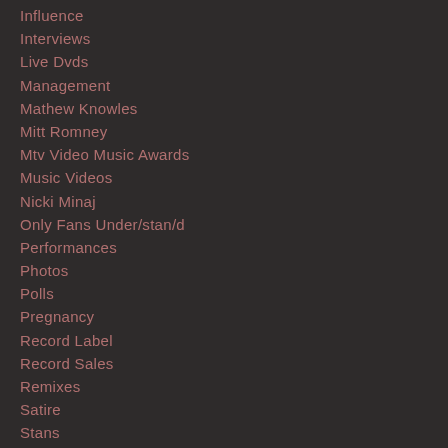Influence
Interviews
Live Dvds
Management
Mathew Knowles
Mitt Romney
Mtv Video Music Awards
Music Videos
Nicki Minaj
Only Fans Under/stan/d
Performances
Photos
Polls
Pregnancy
Record Label
Record Sales
Remixes
Satire
Stans
Superbowl
Top 10